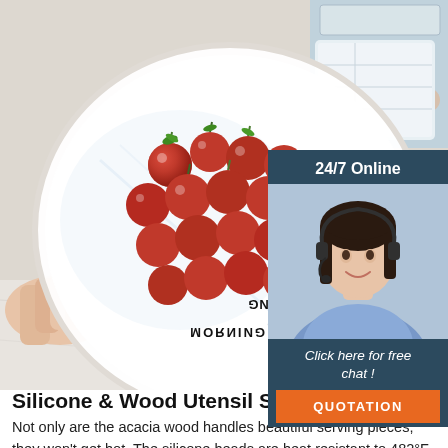[Figure (photo): Photo of a plate of cherry tomatoes covered in cling wrap with 'Good Morning' text, hand holding the plate, and a second smaller photo of food storage in top right corner]
[Figure (infographic): Sidebar with '24/7 Online' header, photo of female customer service agent with headset, 'Click here for free chat!' text, and orange QUOTATION button]
Silicone & Wood Utensil Set -
Not only are the acacia wood handles beautiful serving pieces, they won't get hot. The silicone heads are heat resistant to 482°F (250°C), top resistant, and safe to use in all pans. When you buy the Silicone & Wood Utensil Set from Sept.